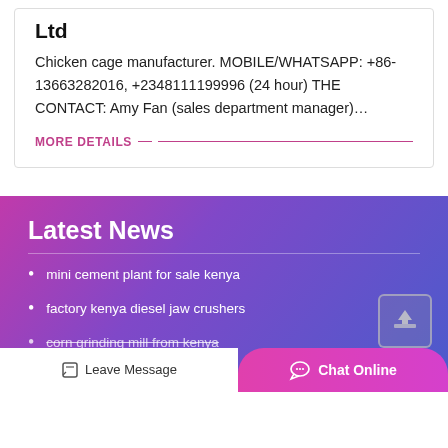Ltd
Chicken cage manufacturer. MOBILE/WHATSAPP: +86-13663282016, +2348111199996 (24 hour) THE CONTACT: Amy Fan (sales department manager)…
MORE DETAILS
Latest News
mini cement plant for sale kenya
factory kenya diesel jaw crushers
corn grinding mill from kenya
Leave Message
Chat Online